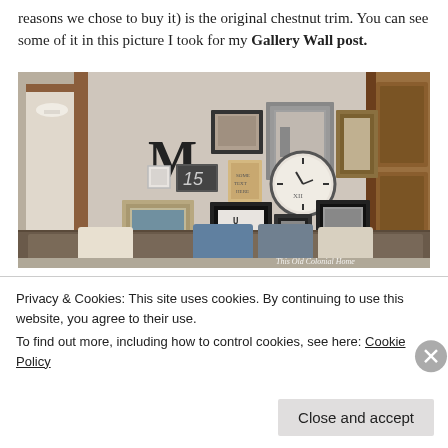reasons we chose to buy it) is the original chestnut trim. You can see some of it in this picture I took for my Gallery Wall post.
[Figure (photo): Interior room photo showing a gallery wall with framed pictures, a large letter M, a clock, and number 15. Brown couch in foreground. Chestnut wood door trim visible on sides. Watermark reads 'This Old Colonial Home'.]
Privacy & Cookies: This site uses cookies. By continuing to use this website, you agree to their use.
To find out more, including how to control cookies, see here: Cookie Policy
Close and accept